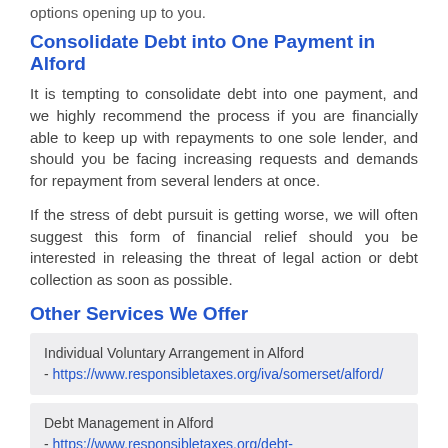options opening up to you.
Consolidate Debt into One Payment in Alford
It is tempting to consolidate debt into one payment, and we highly recommend the process if you are financially able to keep up with repayments to one sole lender, and should you be facing increasing requests and demands for repayment from several lenders at once.
If the stress of debt pursuit is getting worse, we will often suggest this form of financial relief should you be interested in releasing the threat of legal action or debt collection as soon as possible.
Other Services We Offer
Individual Voluntary Arrangement in Alford - https://www.responsibletaxes.org/iva/somerset/alford/
Debt Management in Alford - https://www.responsibletaxes.org/debt-management/somerset/alford/